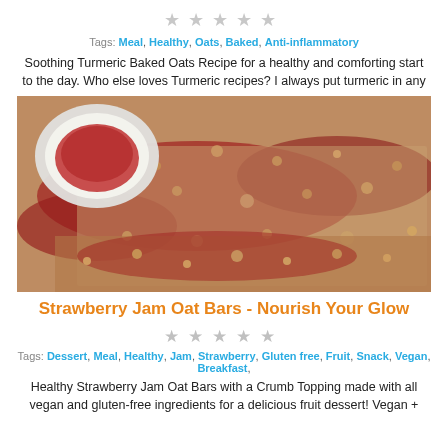[Figure (other): Five empty star rating icons in gray]
Tags: Meal, Healthy, Oats, Baked, Anti-inflammatory
Soothing Turmeric Baked Oats Recipe for a healthy and comforting start to the day. Who else loves Turmeric recipes? I always put turmeric in any
[Figure (photo): Close-up photo of strawberry jam oat bars with crumb topping and a small bowl of jam in the upper left corner]
Strawberry Jam Oat Bars - Nourish Your Glow
[Figure (other): Five empty star rating icons in gray]
Tags: Dessert, Meal, Healthy, Jam, Strawberry, Gluten free, Fruit, Snack, Vegan, Breakfast,
Healthy Strawberry Jam Oat Bars with a Crumb Topping made with all vegan and gluten-free ingredients for a delicious fruit dessert! Vegan +